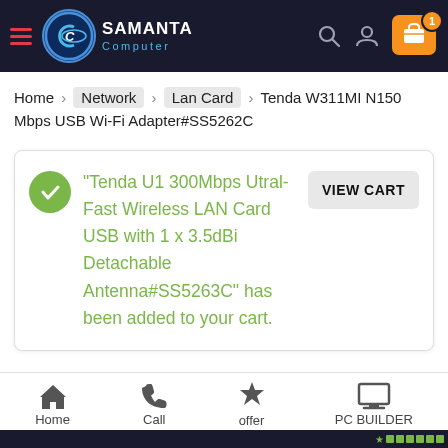Samanta Computer — Header with logo, search, user icon, and cart (1 item)
Home > Network > Lan Card > Tenda W311MI N150 Mbps USB Wi-Fi Adapter#SS5262C
"Tenda U1 300Mbps Utral-Fast Wireless LAN Card USB with 1 x 3.5dBi Detachable Antenna#SS5263C" has been added to your cart.
VIEW CART
Home | Call | offer | PC BUILDER